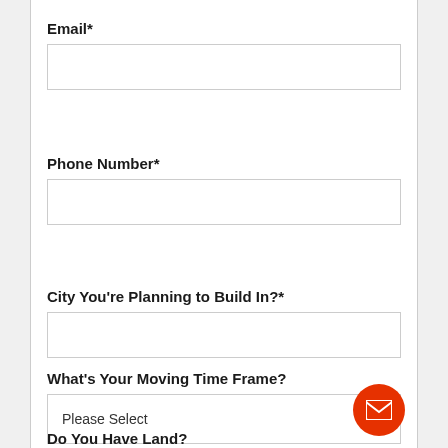Email*
[Figure (other): Empty text input field for Email]
Phone Number*
[Figure (other): Empty text input field for Phone Number]
City You're Planning to Build In?*
[Figure (other): Empty text input field for City]
What's Your Moving Time Frame?
[Figure (other): Dropdown select field showing 'Please Select']
Do You Have Land?
[Figure (other): Partially visible dropdown select field at bottom of page. Red circular email button overlay in bottom right.]